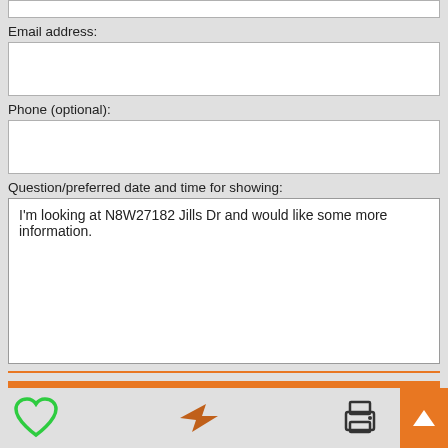Email address:
Phone (optional):
Question/preferred date and time for showing:
I'm looking at N8W27182 Jills Dr and would like some more information.
Send question/request